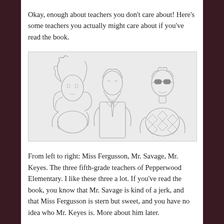Okay, enough about teachers you don't care about! Here's some teachers you actually might care about if you've read the book.
[Figure (illustration): Pencil sketch drawing of three characters standing side by side: on the left a woman with long curly hair (Miss Fergusson), in the middle a tall man with a beard wearing a coat (Mr. Savage), and on the right a man wearing sunglasses and a patterned sweater (Mr. Keyes).]
From left to right: Miss Fergusson, Mr. Savage, Mr. Keyes. The three fifth-grade teachers of Pepperwood Elementary. I like these three a lot. If you've read the book, you know that Mr. Savage is kind of a jerk, and that Miss Fergusson is stern but sweet, and you have no idea who Mr. Keyes is. More about him later.